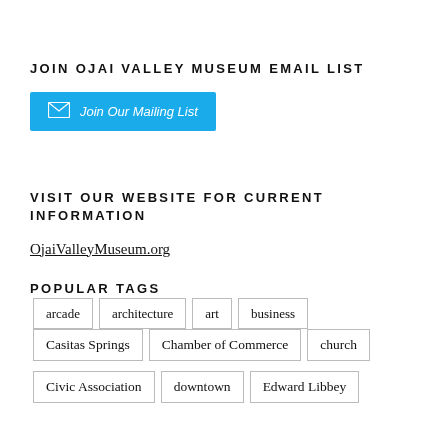JOIN OJAI VALLEY MUSEUM EMAIL LIST
[Figure (other): Blue button with envelope icon and text 'Join Our Mailing List']
VISIT OUR WEBSITE FOR CURRENT INFORMATION
OjaiValleyMuseum.org
POPULAR TAGS
arcade
architecture
art
business
Casitas Springs
Chamber of Commerce
church
Civic Association
downtown
Edward Libbey